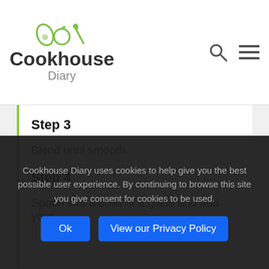Cookhouse Diary
Step 3
Blend until smooth.
Step 4
Spoon into a bowl or a glass and add your
Cookhouse Diary uses cookies to help give you the best possible user experience. By continuing to browse this site you give consent for cookies to be used.